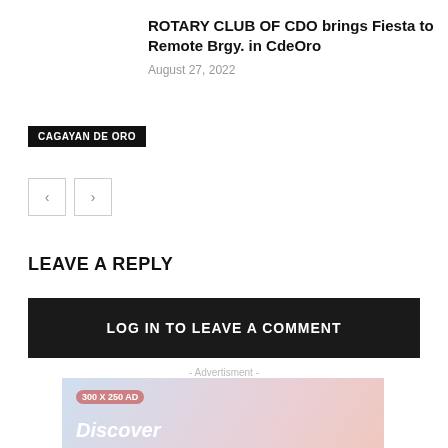ROTARY CLUB OF CDO brings Fiesta to Remote Brgy. in CdeOro
August 27, 2022
CAGAYAN DE ORO
< >
LEAVE A REPLY
LOG IN TO LEAVE A COMMENT
- Advertisment -
[Figure (infographic): 300 x 250 AD placeholder with Discover text on gradient background]